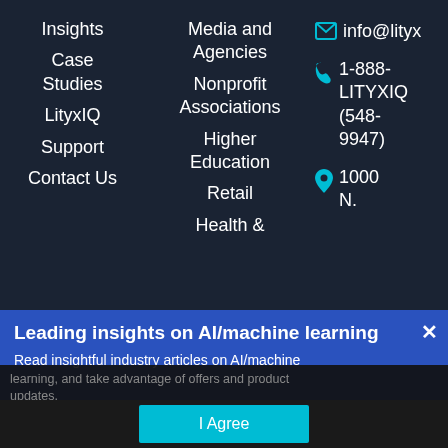Insights
Case Studies
LityxIQ
Support
Contact Us
Media and Agencies
Nonprofit Associations
Higher Education
Retail
Health &
info@lityx
1-888-LITYXIQ (548-9947)
1000 N.
Leading insights on AI/machine learning
Read insightful industry articles on AI/machine learning, and take advantage of offers and product updates.
Privacy Preferences
I Agree